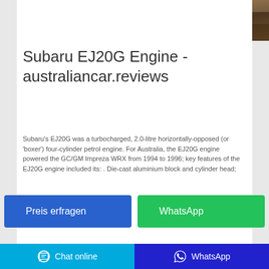[Figure (photo): Top portion of a wooden surface or car part, brownish image cropped at the top of the page]
Subaru EJ20G Engine - australiancar.reviews
Subaru's EJ20G was a turbocharged, 2.0-litre horizontally-opposed (or 'boxer') four-cylinder petrol engine. For Australia, the EJ20G engine powered the GC/GM Impreza WRX from 1994 to 1996; key features of the EJ20G engine included its: . Die-cast aluminium block and cylinder head;
[Figure (screenshot): Preis erfragen button (blue) and WhatsApp button (green)]
[Figure (photo): Bottom strip showing partial image of wooden/car surface]
Chat online   WhatsApp